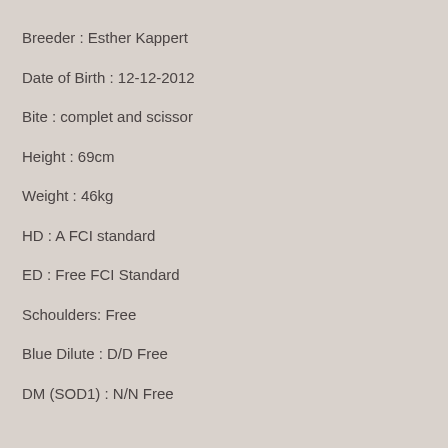Breeder : Esther Kappert
Date of Birth : 12-12-2012
Bite : complet and scissor
Height : 69cm
Weight : 46kg
HD : A FCI standard
ED : Free FCI Standard
Schoulders: Free
Blue Dilute : D/D Free
DM (SOD1) : N/N Free